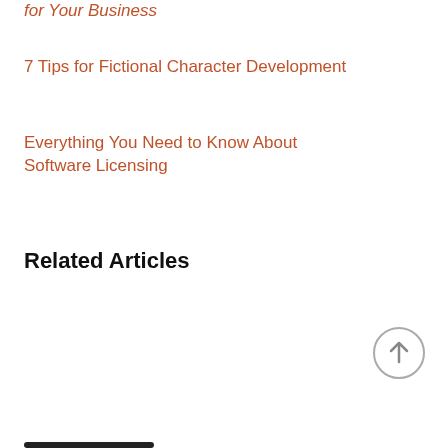for Your Business
7 Tips for Fictional Character Development
Everything You Need to Know About Software Licensing
Related Articles
[Figure (other): Scroll-to-top button — circular arrow icon]
[Figure (other): Bottom navigation bar indicator]